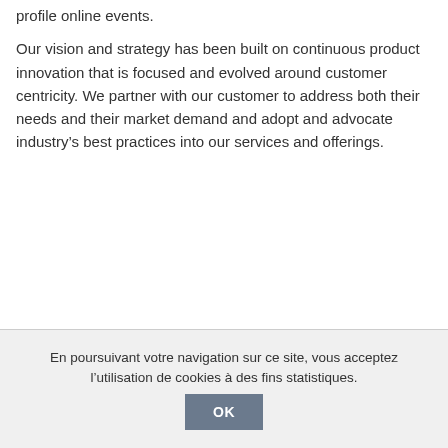profile online events.
Our vision and strategy has been built on continuous product innovation that is focused and evolved around customer centricity. We partner with our customer to address both their needs and their market demand and adopt and advocate industry's best practices into our services and offerings.
En poursuivant votre navigation sur ce site, vous acceptez l'utilisation de cookies à des fins statistiques.